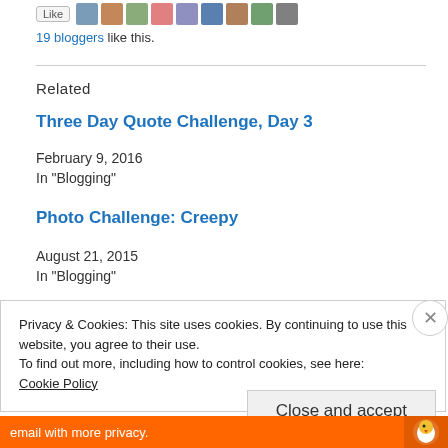[Figure (other): Row of blogger avatar thumbnails with a like button]
19 bloggers like this.
Related
Three Day Quote Challenge, Day 3
February 9, 2016
In "Blogging"
Photo Challenge: Creepy
August 21, 2015
In "Blogging"
Privacy & Cookies: This site uses cookies. By continuing to use this website, you agree to their use.
To find out more, including how to control cookies, see here:
Cookie Policy
Close and accept
[Figure (infographic): Orange DuckDuckGo advertisement bar at bottom: 'email with more privacy.']